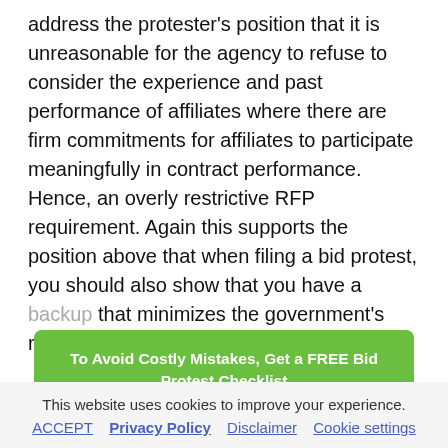address the protester's position that it is unreasonable for the agency to refuse to consider the experience and past performance of affiliates where there are firm commitments for affiliates to participate meaningfully in contract performance. Hence, an overly restrictive RFP requirement. Again this supports the position above that when filing a bid protest, you should also show that you have a backup that minimizes the government's risk of substandard performance.
[Figure (other): Green call-to-action button: 'To Avoid Costly Mistakes, Get a FREE Bid Protest Checklist']
This website uses cookies to improve your experience.
ACCEPT   Privacy Policy   Disclaimer   Cookie settings